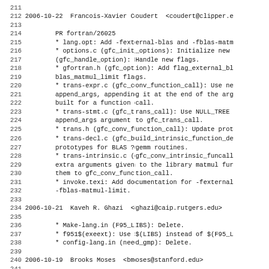211
212 2006-10-22  Francois-Xavier Coudert  <coudert@clipper.e
213
214         PR fortran/26025
215         * lang.opt: Add -fexternal-blas and -fblas-matm
216         * options.c (gfc_init_options): Initialize new
217         (gfc_handle_option): Handle new flags.
218         * gfortran.h (gfc_option): Add flag_external_bl
219         blas_matmul_limit flags.
220         * trans-expr.c (gfc_conv_function_call): Use ne
221         append_args, appending it at the end of the arg
222         built for a function call.
223         * trans-stmt.c (gfc_trans_call): Use NULL_TREE
224         append_args argument to gfc_trans_call.
225         * trans.h (gfc_conv_function_call): Update prot
226         * trans-decl.c (gfc_build_intrinsic_function_de
227         prototypes for BLAS ?gemm routines.
228         * trans-intrinsic.c (gfc_conv_intrinsic_funcall
229         extra arguments given to the library matmul fur
230         them to gfc_conv_function_call.
231         * invoke.texi: Add documentation for -fexternal
232         -fblas-matmul-limit.
233
234 2006-10-21  Kaveh R. Ghazi  <ghazi@caip.rutgers.edu>
235
236         * Make-lang.in (F95_LIBS): Delete.
237         * f951$(exeext): Use $(LIBS) instead of $(F95_L
238         * config-lang.in (need_gmp): Delete.
239
240 2006-10-19  Brooks Moses  <bmoses@stanford.edu>
241
242         * invoke.texi: Fixed "denormal" typo.